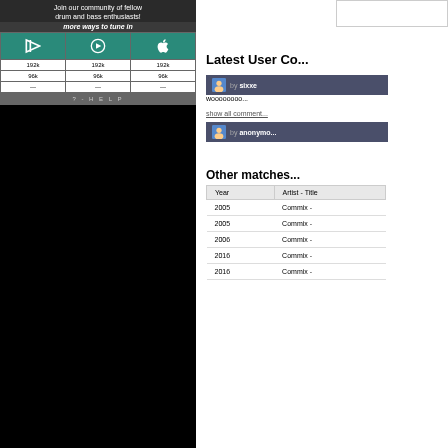Join our community of fellow drum and bass enthusiasts!
more ways to tune in
|  |  |  |
| --- | --- | --- |
| 192k | 192k | 192k |
| 96k | 96k | 96k |
| --- | --- | --- |
? - H E L P
Latest User Co...
by sixxe
woooooooo...
show all comment...
by anonymo...
Other matches...
| Year | Artist - Title |
| --- | --- |
| 2005 | Commix - |
| 2005 | Commix - |
| 2006 | Commix - |
| 2016 | Commix - |
| 2016 | Commix - |